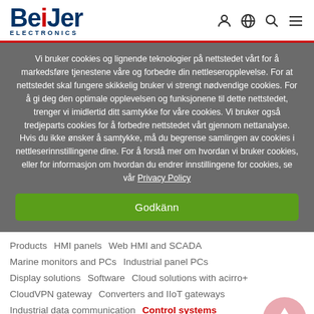Beijer Electronics
Vi bruker cookies og lignende teknologier på nettstedet vårt for å markedsføre tjenestene våre og forbedre din nettleseropplevelse. For at nettstedet skal fungere skikkelig bruker vi strengt nødvendige cookies. For å gi deg den optimale opplevelsen og funksjonene til dette nettstedet, trenger vi imidlertid ditt samtykke for våre cookies. Vi bruker også tredjeparts cookies for å forbedre nettstedet vårt gjennom nettanalyse. Hvis du ikke ønsker å samtykke, må du begrense samlingen av cookies i nettleserinnstillingene dine. For å forstå mer om hvordan vi bruker cookies, eller for informasjon om hvordan du endrer innstillingene for cookies, se vår Privacy Policy
Godkänn
Products   HMI panels   Web HMI and SCADA   Marine monitors and PCs   Industrial panel PCs   Display solutions   Software   Cloud solutions with acirro+   CloudVPN gateway   Converters and IIoT gateways   Industrial data communication   Control systems   Frequency inverters   Distributed IO   Servo motion